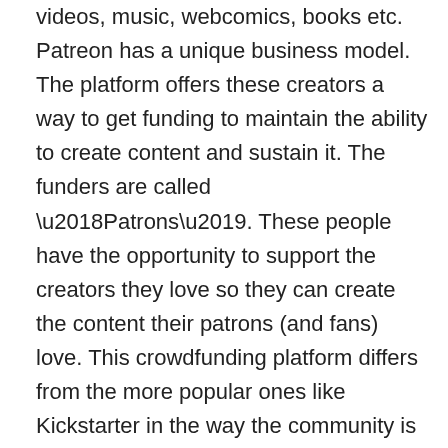videos, music, webcomics, books etc. Patreon has a unique business model. The platform offers these creators a way to get funding to maintain the ability to create content and sustain it. The funders are called ‘Patrons’. These people have the opportunity to support the creators they love so they can create the content their patrons (and fans) love. This crowdfunding platform differs from the more popular ones like Kickstarter in the way the community is approached to participate in the funding. Creators get stable monthly funding from their patrons, which helps them sustain their practices and have a more consistent income. In return creators give their patrons exclusive content, sneak peeks or other extra rewards for their generosity. This idea of crowdfunding is not project oriented as we are used to seeing. Instead the funding is an on-going process for both the creators, as long as they